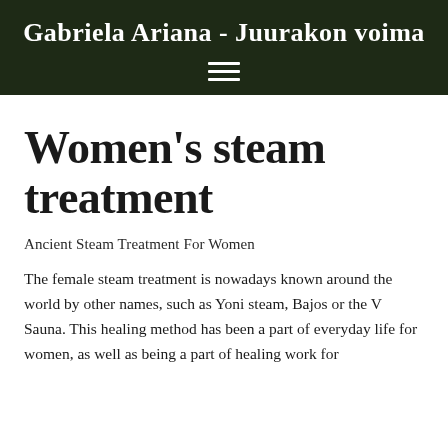Gabriela Ariana - Juurakon voima
Women's steam treatment
Ancient Steam Treatment For Women
The female steam treatment is nowadays known around the world by other names, such as Yoni steam, Bajos or the V Sauna. This healing method has been a part of everyday life for women, as well as being a part of healing work for